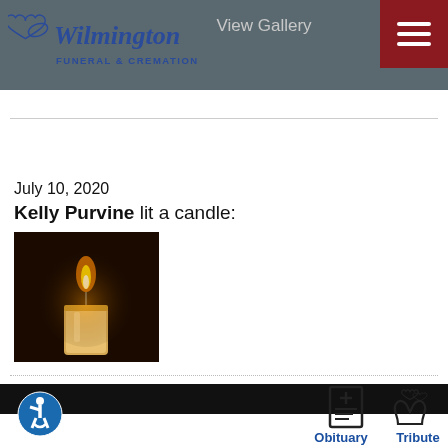[Figure (screenshot): Wilmington Funeral & Cremation logo with heart and dove graphic, blue italic script text]
View Gallery
[Figure (illustration): Hamburger menu icon (three horizontal lines) on dark red background]
July 10, 2020
Kelly Purvine lit a candle:
[Figure (photo): A lit candle with warm flame against a dark background]
[Figure (illustration): Partial view of Wilmington Funeral & Cremation logo at bottom of page]
[Figure (illustration): Accessibility icon - blue circle with wheelchair user symbol]
[Figure (illustration): Obituary icon - document with cross symbol]
Obituary
[Figure (illustration): Tribute Wall icon - hands holding hearts symbol]
Tribute Wall